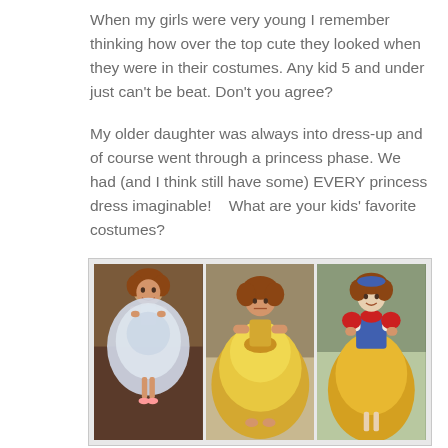When my girls were very young I remember thinking how over the top cute they looked when they were in their costumes.  Any kid 5 and under just can't be beat.  Don't you agree?
My older daughter was always into dress-up and of course went through a princess phase.  We had (and I think still have some) EVERY princess dress imaginable!    What are your kids' favorite costumes?
[Figure (photo): Three photos of young girls in princess costumes. Left: girl in silver/white Cinderella-style ball gown. Center: toddler in yellow Belle-style ball gown. Right: girl in Snow White costume (blue and yellow dress with red bow).]